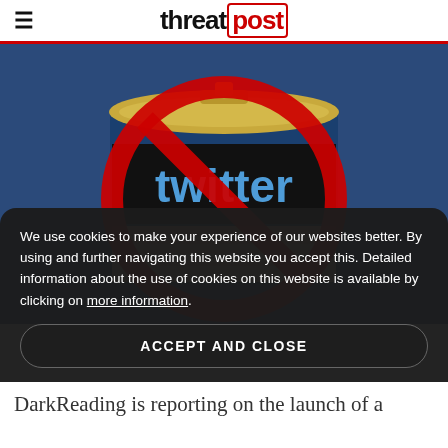threat post
[Figure (photo): A can of spam-like food product with the Twitter bird logo on it, overlaid with a red circle-and-slash 'no' symbol, on a blue background.]
We use cookies to make your experience of our websites better. By using and further navigating this website you accept this. Detailed information about the use of cookies on this website is available by clicking on more information.
ACCEPT AND CLOSE
DarkReading is reporting on the launch of a